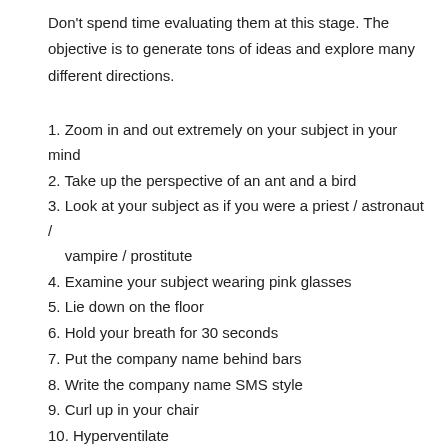Don’t spend time evaluating them at this stage. The objective is to generate tons of ideas and explore many different directions.
1. Zoom in and out extremely on your subject in your mind
2. Take up the perspective of an ant and a bird
3. Look at your subject as if you were a priest / astronaut / vampire / prostitute
4. Examine your subject wearing pink glasses
5. Lie down on the floor
6. Hold your breath for 30 seconds
7. Put the company name behind bars
8. Write the company name SMS style
9. Curl up in your chair
10. Hyperventilate
11. Put the company name under-water